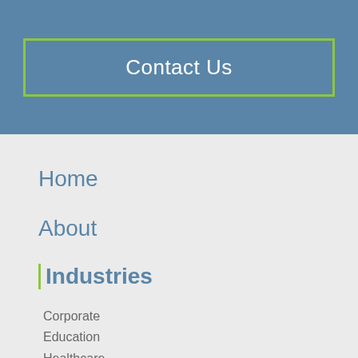Contact Us
Home
About
Industries
Corporate
Education
Healthcare